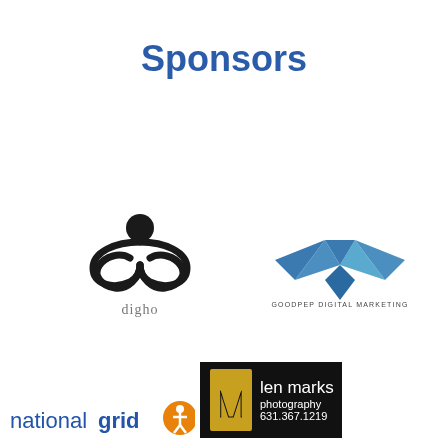Sponsors
[Figure (logo): Digho logo — black stylized infinity/flower symbol with a circle above it, and the word 'digho' below in grey serif font]
[Figure (logo): Goodpep Digital Marketing logo — blue origami bird/crane shape above the text 'GOODPEP DIGITAL MARKETING' in small caps]
[Figure (logo): National Grid logo — text 'nationalgrid' in blue with bold 'grid', followed by an orange circle with a white accessibility/person icon]
[Figure (logo): Len Marks Photography logo — black background with a gold stylized M, text 'len marks photography 631.367.1219' in white]